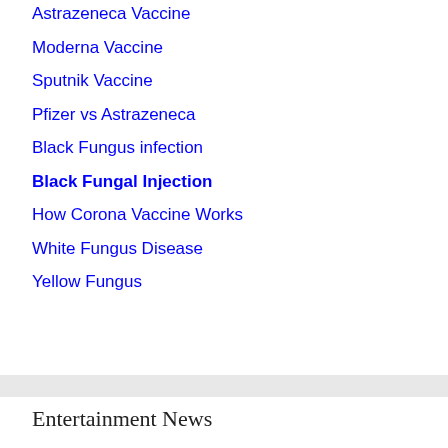Astrazeneca Vaccine
Moderna Vaccine
Sputnik Vaccine
Pfizer vs Astrazeneca
Black Fungus infection
Black Fungal Injection
How Corona Vaccine Works
White Fungus Disease
Yellow Fungus
Entertainment News